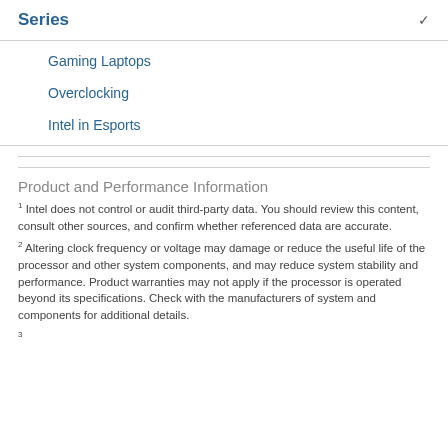Series
Gaming Laptops
Overclocking
Intel in Esports
Product and Performance Information
1 Intel does not control or audit third-party data. You should review this content, consult other sources, and confirm whether referenced data are accurate.
2 Altering clock frequency or voltage may damage or reduce the useful life of the processor and other system components, and may reduce system stability and performance. Product warranties may not apply if the processor is operated beyond its specifications. Check with the manufacturers of system and components for additional details.
3 ...